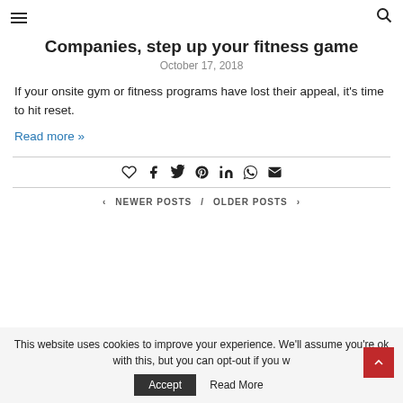≡   🔍
Companies, step up your fitness game
October 17, 2018
If your onsite gym or fitness programs have lost their appeal, it's time to hit reset.
Read more »
[Figure (other): Social share icons: heart, facebook, twitter, pinterest, linkedin, whatsapp, email]
< NEWER POSTS / OLDER POSTS >
This website uses cookies to improve your experience. We'll assume you're ok with this, but you can opt-out if you w…
Accept   Read More